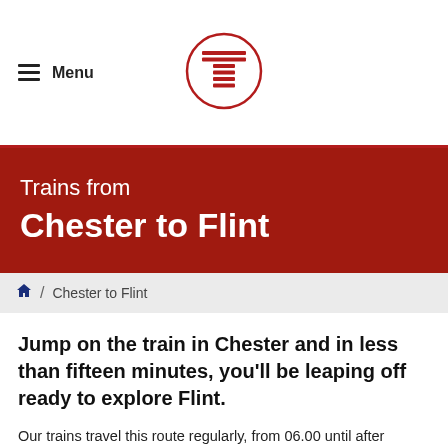Menu
[Figure (logo): Transpennine Express circular logo with T letter made of horizontal red lines inside a red circle]
Trains from Chester to Flint
Chester to Flint
Jump on the train in Chester and in less than fifteen minutes, you'll be leaping off ready to explore Flint.
Our trains travel this route regularly, from 06.00 until after midnight, with a round trip better than available daily...